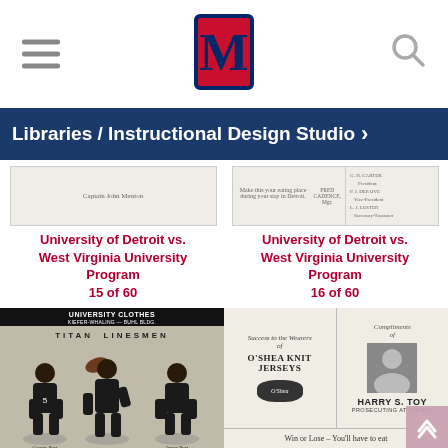Libraries / Instructional Design Studio
[Figure (screenshot): Thumbnail of University of Detroit vs. West Virginia University Program page 15 of 60 showing old document text]
University of Detroit vs. West Virginia University Program
15 of 60
[Figure (screenshot): Thumbnail of University of Detroit vs. West Virginia University Program page 16 of 60 showing old document with columns]
University of Detroit vs. West Virginia University Program
16 of 60
[Figure (photo): Black and white photo page showing TITAN LINESMEN with three football players, header reads UNIVERSITY CLOTHES KIEFER-WHALING - BUHL BLDG.]
[Figure (photo): Old advertisement page showing O'SHEA KNIT JERSEYS on the left and HARRY S. TOY PROSECUTING ATTORNEY on the right, bottom text reads Win or Lose - You'll have to eat]